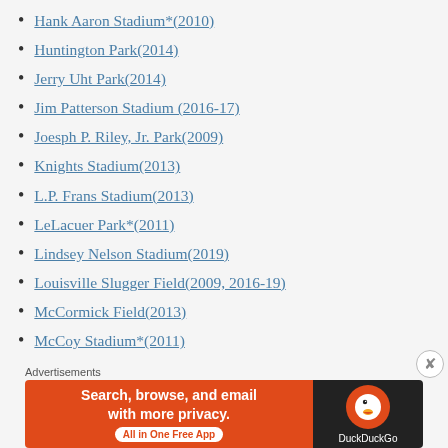Hank Aaron Stadium*(2010)
Huntington Park(2014)
Jerry Uht Park(2014)
Jim Patterson Stadium (2016-17)
Joesph P. Riley, Jr. Park(2009)
Knights Stadium(2013)
L.P. Frans Stadium(2013)
LeLacuer Park*(2011)
Lindsey Nelson Stadium(2019)
Louisville Slugger Field(2009, 2016-19)
McCormick Field(2013)
McCoy Stadium*(2011)
McLane Stadium/Kobs Field(2009)
Miller Park(2008)
[Figure (infographic): DuckDuckGo advertisement banner: 'Search, browse, and email with more privacy. All in One Free App' with DuckDuckGo logo on dark background.]